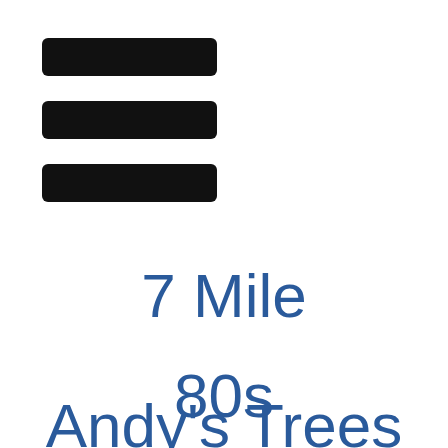[Figure (other): Hamburger menu icon: three horizontal black rectangles stacked vertically]
7 Mile
80s
90s
Andy's Trees